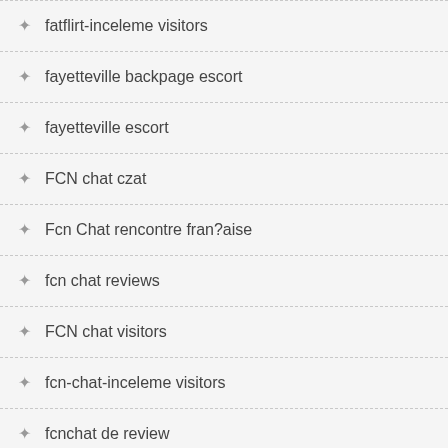fatflirt-inceleme visitors
fayetteville backpage escort
fayetteville escort
FCN chat czat
Fcn Chat rencontre fran?aise
fcn chat reviews
FCN chat visitors
fcn-chat-inceleme visitors
fcnchat de review
fdating criticas
fdating de review